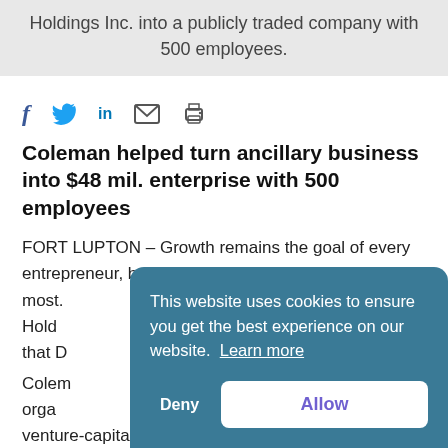Holdings Inc. into a publicly traded company with 500 employees.
[Figure (infographic): Social sharing icons: Facebook (f), Twitter (bird), LinkedIn (in), email (envelope), print (printer)]
Coleman helped turn ancillary business into $48 mil. enterprise with 500 employees
FORT LUPTON – Growth remains the goal of every entrepreneur, but for Bill Coleman, it's truer than for most. Hold... that D...
Colem... orga... venture-capital fund, but it's for his foresight in
This website uses cookies to ensure you get the best experience on our website.  Learn more
Deny
Allow